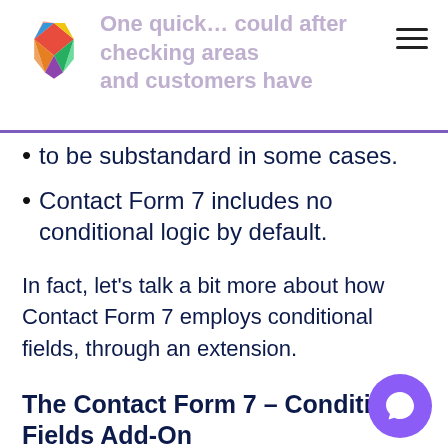One quick … could after checking areas and customers have
to be substandard in some cases.
Contact Form 7 includes no conditional logic by default.
In fact, let's talk a bit more about how Contact Form 7 employs conditional fields, through an extension.
The Contact Form 7 – Conditional Fields Add-On
There's no native support for conditional fi… Contact Form 7, and also no official add-on to